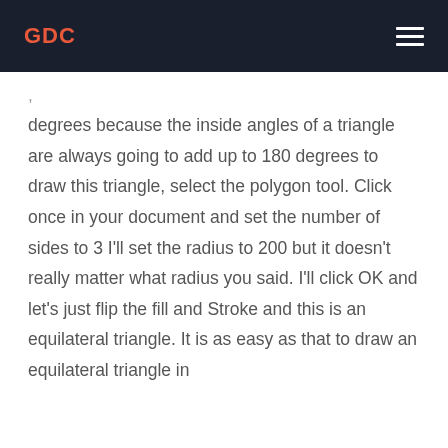GDC
degrees because the inside angles of a triangle are always going to add up to 180 degrees to draw this triangle, select the polygon tool. Click once in your document and set the number of sides to 3 I'll set the radius to 200 but it doesn't really matter what radius you said. I'll click OK and let's just flip the fill and Stroke and this is an equilateral triangle. It is as easy as that to draw an equilateral triangle in